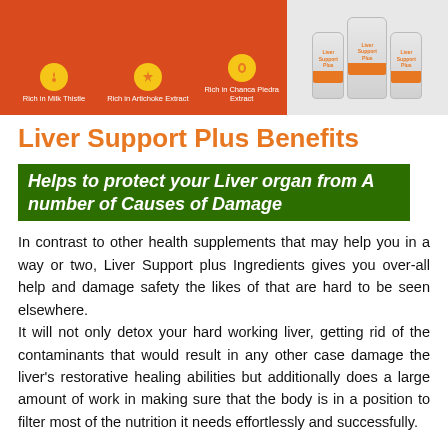[Figure (photo): Product image showing Liver Support Plus supplement bottles on a red background with icons for Milk Thistle, Artichoke Extract, and Chanca Piedra Extract]
Liver Support Plus Benefits
Helps to protect your Liver organ from A number of Causes of Damage
In contrast to other health supplements that may help you in a way or two, Liver Support plus Ingredients gives you over-all help and damage safety the likes of that are hard to be seen elsewhere. It will not only detox your hard working liver, getting rid of the contaminants that would result in any other case damage the liver's restorative healing abilities but additionally does a large amount of work in making sure that the body is in a position to filter most of the nutrition it needs effortlessly and successfully.